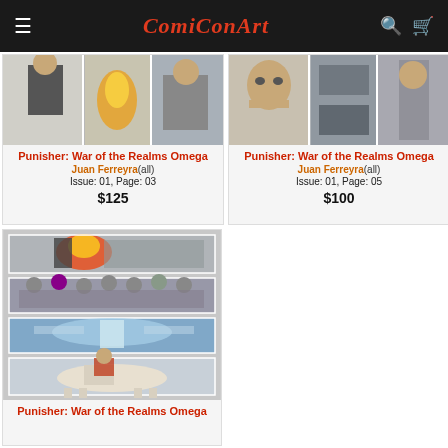ComiConArt
[Figure (screenshot): Comic art page thumbnail - Punisher War of the Realms Omega issue 01 page 03]
Punisher: War of the Realms Omega
Juan Ferreyra(all)
Issue: 01, Page: 03
$125
[Figure (screenshot): Comic art page thumbnail - Punisher War of the Realms Omega issue 01 page 05]
Punisher: War of the Realms Omega
Juan Ferreyra(all)
Issue: 01, Page: 05
$100
[Figure (screenshot): Comic art page thumbnail - Punisher War of the Realms Omega (large, multi-panel page showing explosion, warriors, winged figure, Thor-like character on horse)]
Punisher: War of the Realms Omega